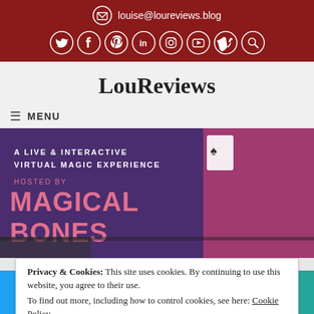louise@loureviews.blog
LouReviews
MENU
[Figure (photo): Promotional banner for 'A Live & Interactive Virtual Magic Experience hosted by Magical Bones', showing a man in a pink jacket holding a playing card to his mouth.]
Privacy & Cookies: This site uses cookies. By continuing to use this website, you agree to their use.
To find out more, including how to control cookies, see here: Cookie Policy
Share bar with Twitter, Facebook, Email, WhatsApp, SMS, and More options